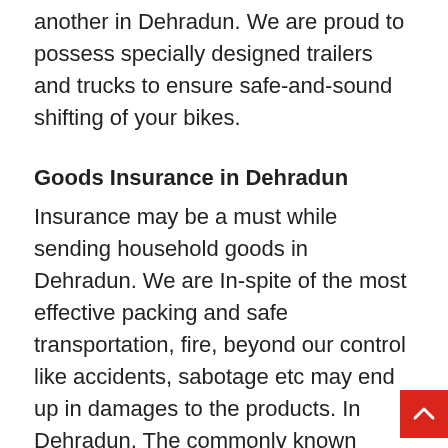another in Dehradun. We are proud to possess specially designed trailers and trucks to ensure safe-and-sound shifting of your bikes.
Goods Insurance in Dehradun
Insurance may be a must while sending household goods in Dehradun. We are In-spite of the most effective packing and safe transportation, fire, beyond our control like accidents, sabotage etc may end up in damages to the products. In Dehradun, The commonly known insurance is the Transit Insurance. Hence if there's no accident to the vehicle no claim for compensation may be made. Here the compensation towards damages/losses are paid as long as the vehicle meets with an accident. Here the compensation is paid as long as goods are stored in an exceedingly secure facility and damages / losses are caused thanks to Natural disasters like major storms,